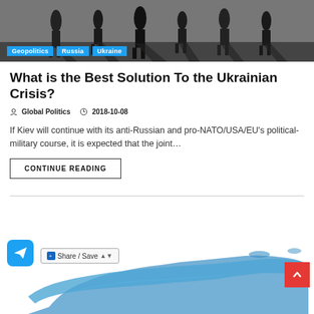[Figure (photo): Dark silhouettes of people walking, shadows on pavement. Tags overlaid: Geopolitics, Russia, Ukraine]
What is the Best Solution To the Ukrainian Crisis?
Global Politics   2018-10-08
If Kiev will continue with its anti-Russian and pro-NATO/USA/EU's political-military course, it is expected that the joint…
CONTINUE READING
[Figure (map): Blue political map showing Russia and surrounding regions]
Share / Save